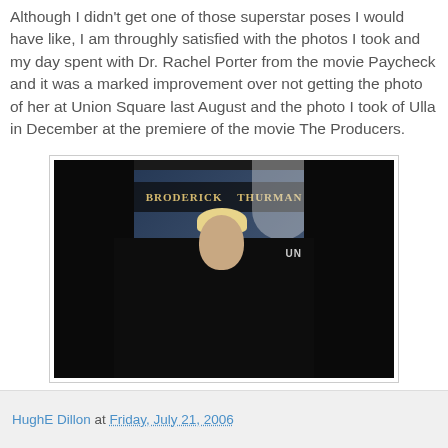Although I didn't get one of those superstar poses I would have like, I am throughly satisfied with the photos I took and my day spent with Dr. Rachel Porter from the movie Paycheck and it was a marked improvement over not getting the photo of her at Union Square last August and the photo I took of Ulla in December at the premiere of the movie The Producers.
[Figure (photo): A dark crowd scene at what appears to be a movie premiere. A banner in the background reads 'BRODERICK THURMAN'. A blonde woman is visible among dark silhouettes of people. The text 'UN' is visible on the right side.]
HughE Dillon at Friday, July 21, 2006